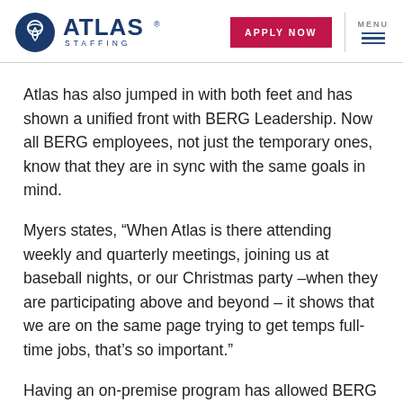ATLAS STAFFING | APPLY NOW | MENU
Atlas has also jumped in with both feet and has shown a unified front with BERG Leadership. Now all BERG employees, not just the temporary ones, know that they are in sync with the same goals in mind.
Myers states, “When Atlas is there attending weekly and quarterly meetings, joining us at baseball nights, or our Christmas party –when they are participating above and beyond – it shows that we are on the same page trying to get temps full-time jobs, that’s so important.”
Having an on-premise program has allowed BERG to keep their own human resources department small and